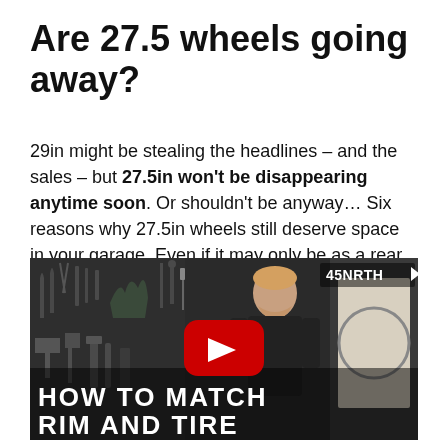Are 27.5 wheels going away?
29in might be stealing the headlines – and the sales – but 27.5in won't be disappearing anytime soon. Or shouldn't be anyway… Six reasons why 27.5in wheels still deserve space in your garage. Even if it may only be as a rear wheel…
[Figure (screenshot): YouTube video thumbnail showing a person in a workshop with tools on the wall, 45NRTH branding in the top right, YouTube play button in the center, and bold white text overlay reading 'HOW TO MATCH RIM AND TIRE']